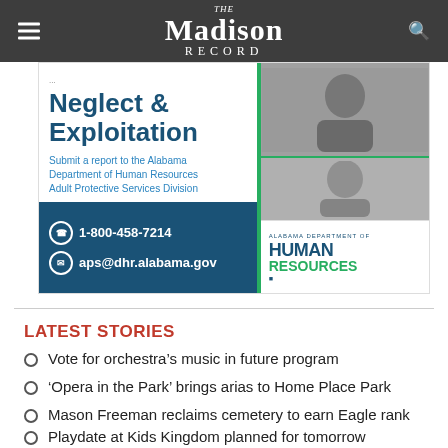The Madison Record
[Figure (infographic): Alabama Department of Human Resources ad: 'Neglect & Exploitation — Submit a report to the Alabama Department of Human Resources Adult Protective Services Division. 1-800-458-7214, aps@dhr.alabama.gov'. Photos of elderly man and woman. DHR logo.]
LATEST STORIES
Vote for orchestra's music in future program
'Opera in the Park' brings arias to Home Place Park
Mason Freeman reclaims cemetery to earn Eagle rank
Playdate at Kids Kingdom planned for tomorrow before renovations begin